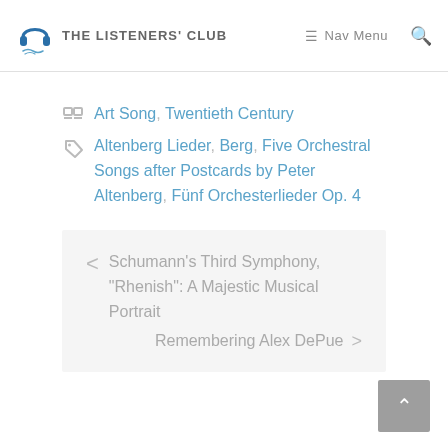THE LISTENERS' CLUB | Nav Menu | Search
Art Song, Twentieth Century
Altenberg Lieder, Berg, Five Orchestral Songs after Postcards by Peter Altenberg, Fünf Orchesterlieder Op. 4
< Schumann's Third Symphony, "Rhenish": A Majestic Musical Portrait
Remembering Alex DePue >